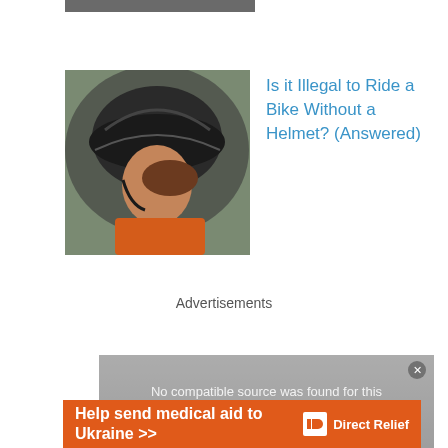[Figure (photo): Partially visible image at the very top of the page, cut off]
[Figure (photo): Person wearing a black bicycle helmet, close-up shot, orange jacket visible]
Is it Illegal to Ride a Bike Without a Helmet? (Answered)
Advertisements
[Figure (screenshot): Video player showing 'No compatible source was found for this media.' error message with close button]
[Figure (photo): Advertisement banner: Help send medical aid to Ukraine >> Direct Relief]